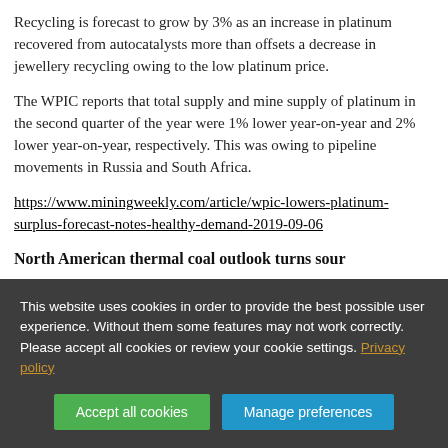Recycling is forecast to grow by 3% as an increase in platinum recovered from autocatalysts more than offsets a decrease in jewellery recycling owing to the low platinum price.
The WPIC reports that total supply and mine supply of platinum in the second quarter of the year were 1% lower year-on-year and 2% lower year-on-year, respectively. This was owing to pipeline movements in Russia and South Africa.
https://www.miningweekly.com/article/wpic-lowers-platinum-surplus-forecast-notes-healthy-demand-2019-09-06
North American thermal coal outlook turns sour
This website uses cookies in order to provide the best possible user experience. Without them some features may not work correctly. Please accept all cookies or review your cookie settings. Privacy policy